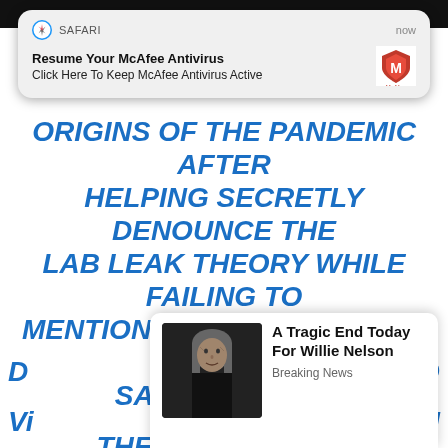[Figure (screenshot): Safari browser notification popup: 'Resume Your McAfee Antivirus / Click Here To Keep McAfee Antivirus Active' with McAfee logo]
ORIGINS OF THE PANDEMIC AFTER HELPING SECRETLY DENOUNCE THE LAB LEAK THEORY WHILE FAILING TO MENTION HIS CLOSE TIES TO THE SAME FACILITY.
THE SCANDAL-HIT SCIENTIST'S
[Figure (screenshot): Ad card showing a photo of Willie Nelson with headline 'A Tragic End Today For Willie Nelson' and source 'Breaking News']